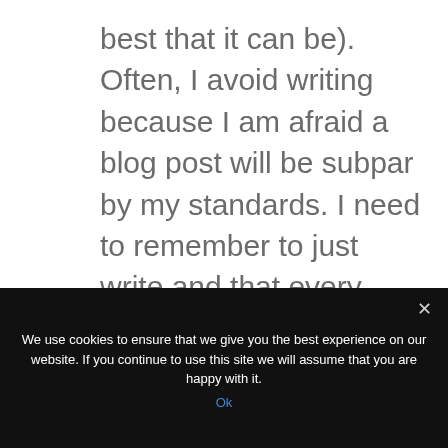best that it can be). Often, I avoid writing because I am afraid a blog post will be subpar by my standards. I need to remember to just write and that every piece does not have to be perfect...any suggestions on how to get over that writing fear?
We use cookies to ensure that we give you the best experience on our website. If you continue to use this site we will assume that you are happy with it.
Ok